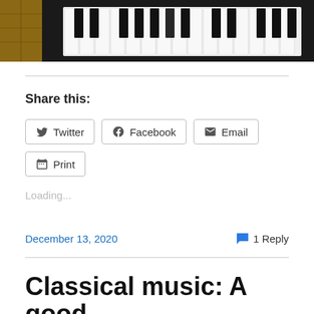[Figure (photo): Photo of a piano keyboard from above, showing black and white keys with dark background]
Share this:
Twitter  Facebook  Email  Print
Loading...
December 13, 2020    1 Reply
Classical music: A good pandemic project for the